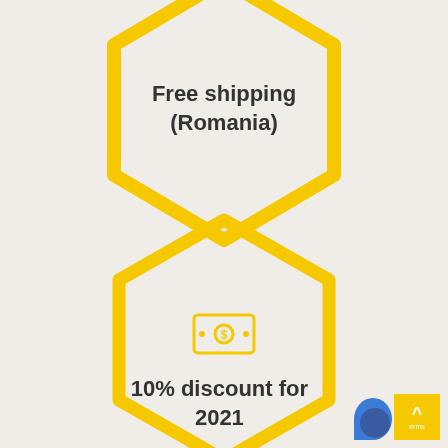[Figure (infographic): Yellow hexagon outline (top half visible) with text 'Free shipping (Romania)' inside]
Free shipping (Romania)
[Figure (infographic): Yellow hexagon outline (full) with a yellow money/dollar bill icon inside]
10% discount for 2021